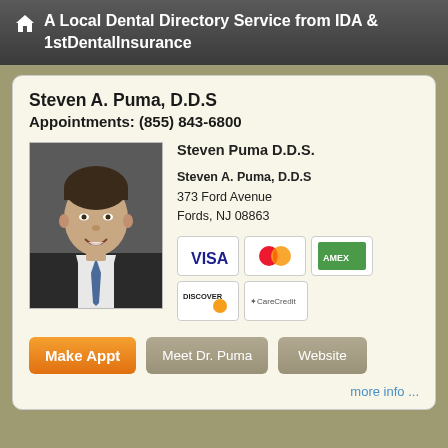A Local Dental Directory Service from IDA & 1stDentalInsurance
Steven A. Puma, D.D.S
Appointments: (855) 843-6800
[Figure (photo): Headshot photo of Dr. Steven Puma, a male dentist wearing a suit and tie, smiling]
Steven Puma D.D.S.
Steven A. Puma, D.D.S
373 Ford Avenue
Fords, NJ 08863
[Figure (infographic): Payment method logos: VISA, MasterCard, American Express, Discover, CareCredit]
Make Appt | Meet Dr. Puma | Website
more info ...